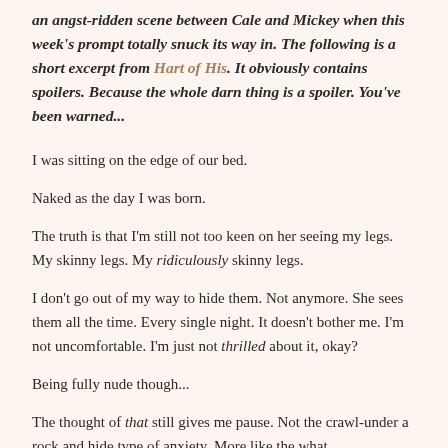an angst-ridden scene between Cale and Mickey when this week's prompt totally snuck its way in. The following is a short excerpt from Hart of His. It obviously contains spoilers. Because the whole darn thing is a spoiler. You've been warned...
I was sitting on the edge of our bed.
Naked as the day I was born.
The truth is that I'm still not too keen on her seeing my legs. My skinny legs. My ridiculously skinny legs.
I don't go out of my way to hide them. Not anymore. She sees them all the time. Every single night. It doesn't bother me. I'm not uncomfortable. I'm just not thrilled about it, okay?
Being fully nude though...
The thought of that still gives me pause. Not the crawl-under a rock and hide type of anxiety. More like the what